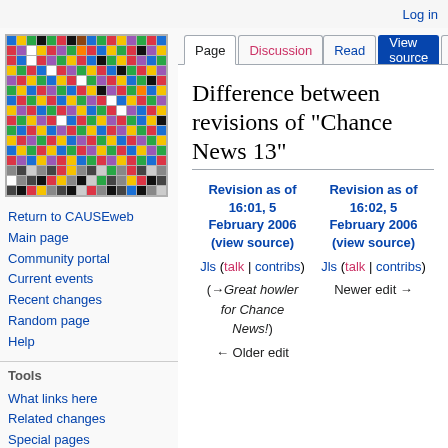Log in
[Figure (illustration): Colorful mosaic/pixel-art logo composed of multi-colored squares on a grey background, representing the CAUSEweb wiki logo]
Return to CAUSEweb
Main page
Community portal
Current events
Recent changes
Random page
Help
Tools
What links here
Related changes
Special pages
Printable version
Permanent link
Difference between revisions of "Chance News 13"
| Revision as of 16:01, 5 February 2006 (view source) | Revision as of 16:02, 5 February 2006 (view source) |
| --- | --- |
| Jls (talk | contribs) | Jls (talk | contribs) |
| (→Great howler for Chance News!) | Newer edit → |
| ← Older edit |  |